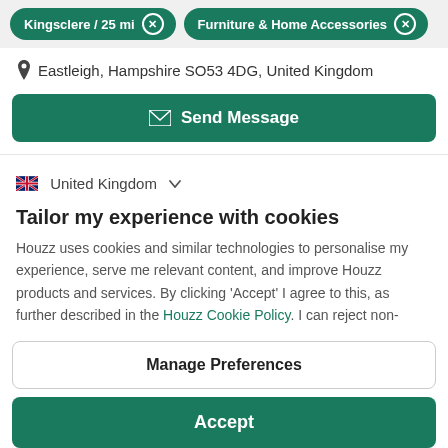Kingsclere / 25 mi  ×    Furniture & Home Accessories  ×
Eastleigh, Hampshire SO53 4DG, United Kingdom
Send Message
United Kingdom
Tailor my experience with cookies
Houzz uses cookies and similar technologies to personalise my experience, serve me relevant content, and improve Houzz products and services. By clicking 'Accept' I agree to this, as further described in the Houzz Cookie Policy. I can reject non-
Manage Preferences
Accept